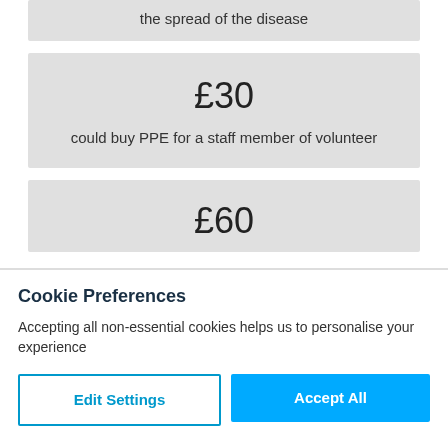the spread of the disease
£30
could buy PPE for a staff member of volunteer
£60
Cookie Preferences
Accepting all non-essential cookies helps us to personalise your experience
Edit Settings
Accept All